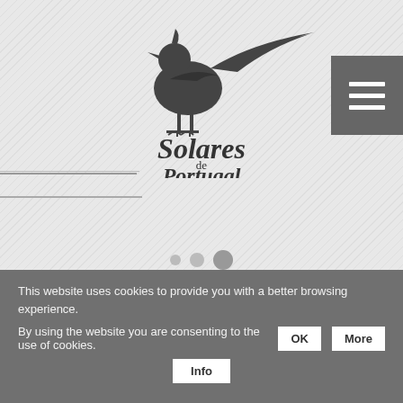[Figure (logo): Solares de Portugal logo: stylized pheasant bird above text 'Solares de Portugal' with 'de' in smaller text between the words]
[Figure (other): Hamburger menu icon (three horizontal bars) on dark grey square background, top right corner]
[Figure (other): Three slider indicator dots of increasing size (small, medium, large) indicating carousel position]
This website uses cookies to provide you with a better browsing experience. By using the website you are consenting to the use of cookies.
OK
More
Info